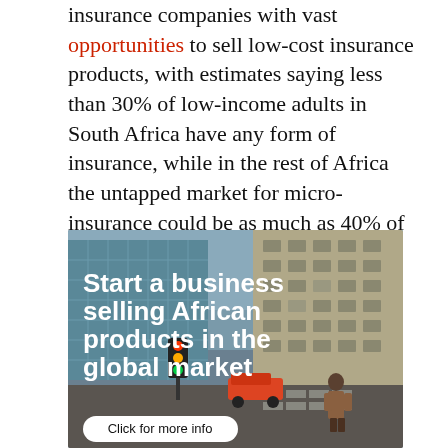insurance companies with vast opportunities to sell low-cost insurance products, with estimates saying less than 30% of low-income adults in South Africa have any form of insurance, while in the rest of Africa the untapped market for micro-insurance could be as much as 40% of the adult population.
[Figure (photo): Advertisement banner showing a city street scene with tall buildings, a person crossing the street, a traffic light showing green, cars, and white bold text reading 'Start a business selling African products in the global market' with a 'Click for more info' button.]